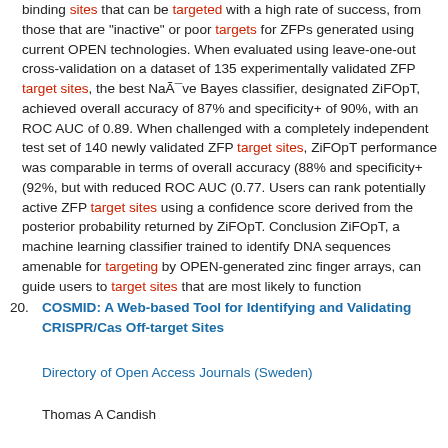binding sites that can be targeted with a high rate of success, from those that are "inactive" or poor targets for ZFPs generated using current OPEN technologies. When evaluated using leave-one-out cross-validation on a dataset of 135 experimentally validated ZFP target sites, the best Naïve Bayes classifier, designated ZiFOpT, achieved overall accuracy of 87% and specificity+ of 90%, with an ROC AUC of 0.89. When challenged with a completely independent test set of 140 newly validated ZFP target sites, ZiFOpT performance was comparable in terms of overall accuracy (88% and specificity+ (92%, but with reduced ROC AUC (0.77. Users can rank potentially active ZFP target sites using a confidence score derived from the posterior probability returned by ZiFOpT. Conclusion ZiFOpT, a machine learning classifier trained to identify DNA sequences amenable for targeting by OPEN-generated zinc finger arrays, can guide users to target sites that are most likely to function
20. COSMID: A Web-based Tool for Identifying and Validating CRISPR/Cas Off-target Sites

Directory of Open Access Journals (Sweden)

Thomas A Candish